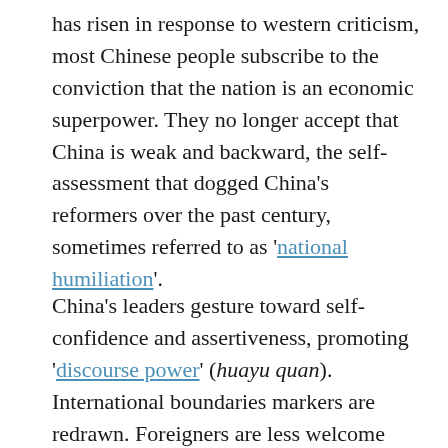has risen in response to western criticism, most Chinese people subscribe to the conviction that the nation is an economic superpower. They no longer accept that China is weak and backward, the self-assessment that dogged China's reformers over the past century, sometimes referred to as 'national humiliation'.
China's leaders gesture toward self-confidence and assertiveness, promoting 'discourse power' (huayu quan). International boundaries markers are redrawn. Foreigners are less welcome than they were a decade ago unless they are defenders of China's development path who might be interviewed on China Global